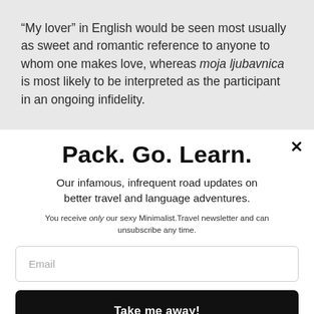“My lover” in English would be seen most usually as sweet and romantic reference to anyone to whom one makes love, whereas moja ljubavnica is most likely to be interpreted as the participant in an ongoing infidelity.
Pack. Go. Learn.
Our infamous, infrequent road updates on better travel and language adventures.
You receive only our sexy Minimalist.Travel newsletter and can unsubscribe any time.
Email
Take me away!